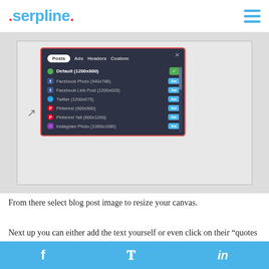serpline.
[Figure (screenshot): A dark-themed popup dialog showing image size options: Posts tab active, with rows for Default (1200x800) with green checkmark, Facebook Photo (940x788), Facebook Link Post (1200x628), Twitter (1200x675), Pinterest (600x900), Pinterest Tall (600x1260), Instagram Photo (1080x1080) — each with a blue 'Set' button except the first which has a green checkmark button.]
From there select blog post image to resize your canvas.
Next up you can either add the text yourself or even click on their “quotes database” which has ever 100,000 quotes.
f  🐦  in